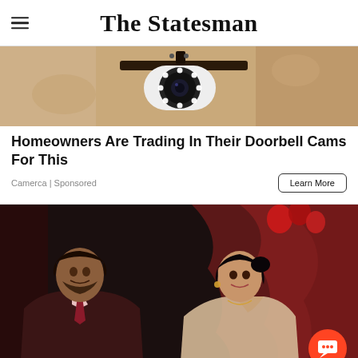The Statesman
[Figure (photo): Security camera mounted on a textured wall, close-up shot showing the camera lens and mounting bracket]
Homeowners Are Trading In Their Doorbell Cams For This
Camerca | Sponsored
Learn More
[Figure (photo): A man and woman posing together at what appears to be a formal event with red balloons and decorations in the background]